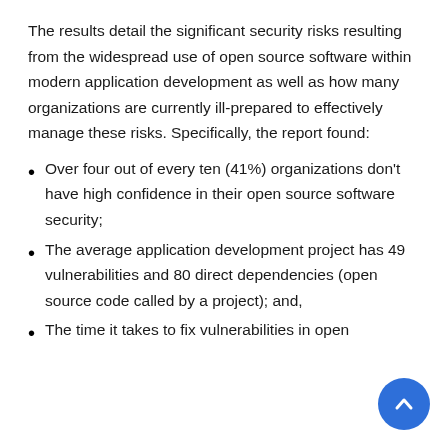The results detail the significant security risks resulting from the widespread use of open source software within modern application development as well as how many organizations are currently ill-prepared to effectively manage these risks. Specifically, the report found:
Over four out of every ten (41%) organizations don't have high confidence in their open source software security;
The average application development project has 49 vulnerabilities and 80 direct dependencies (open source code called by a project); and,
The time it takes to fix vulnerabilities in open